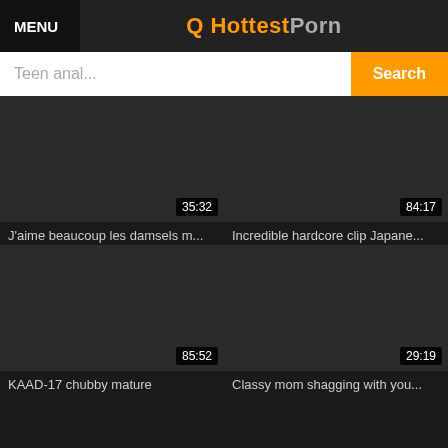MENU | Q HottestPorn
Teen anal... Search
[Figure (screenshot): Video thumbnail dark placeholder with duration 35:32]
J'aime beaucoup les damsels m...
[Figure (screenshot): Video thumbnail dark placeholder with duration 84:17]
Incredible hardcore clip Japane...
[Figure (screenshot): Video thumbnail dark placeholder with duration 85:52]
KAAD-17 chubby mature
[Figure (screenshot): Video thumbnail dark placeholder with duration 29:19]
Classy mom shagging with you...